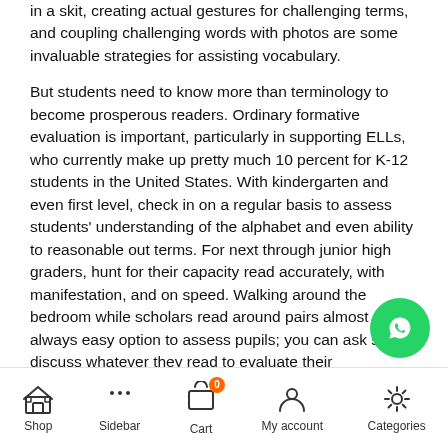in a skit, creating actual gestures for challenging terms, and coupling challenging words with photos are some invaluable strategies for assisting vocabulary.
But students need to know more than terminology to become prosperous readers. Ordinary formative evaluation is important, particularly in supporting ELLs, who currently make up pretty much 10 percent for K-12 students in the United States. With kindergarten and even first level, check in on a regular basis to assess students' understanding of the alphabet and even ability to reasonable out terms. For next through junior high graders, hunt for their capacity read accurately, with manifestation, and on speed. Walking around the bedroom while scholars read around pairs almost always easy option to assess pupils; you can ask sets to discuss whatever they read to evaluate their appreciation in real time.
SUPPLY STUDENTS OPTION IN THE TRAINING BOOKS T
Shop  Sidebar  Cart  My account  Categories